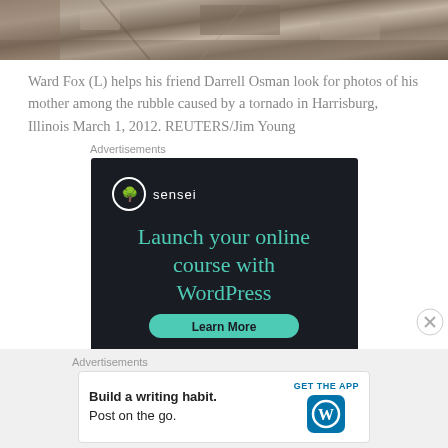[Figure (photo): Aerial/close-up view of rubble and debris caused by a tornado]
Ward Fox (L) helps his friend Darrell Osman look for photos of his mother among the rubble caused by a tornado in Harrisburg, Illinois March 1, 2012. REUTERS/Jim Young
Advertisements
[Figure (screenshot): Sensei advertisement: Launch your online course with WordPress. Learn More button.]
Advertisements
[Figure (screenshot): WordPress advertisement: Build a writing habit. Post on the go. GET THE APP with WordPress logo.]